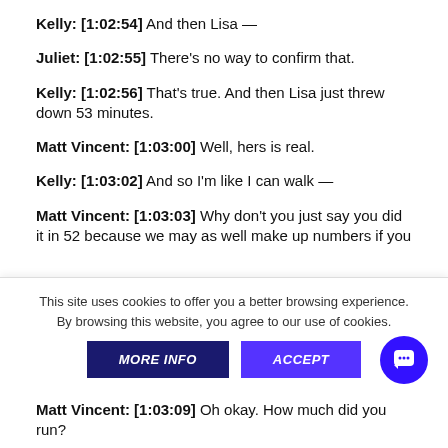Kelly: [1:02:54] And then Lisa —
Juliet: [1:02:55] There's no way to confirm that.
Kelly: [1:02:56] That's true. And then Lisa just threw down 53 minutes.
Matt Vincent: [1:03:00] Well, hers is real.
Kelly: [1:03:02] And so I'm like I can walk —
Matt Vincent: [1:03:03] Why don't you just say you did it in 52 because we may as well make up numbers if you
This site uses cookies to offer you a better browsing experience. By browsing this website, you agree to our use of cookies.
MORE INFO | ACCEPT
Matt Vincent: [1:03:09] Oh okay. How much did you run?